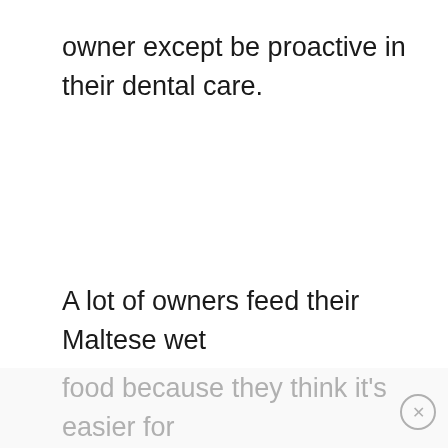owner except be proactive in their dental care.
A lot of owners feed their Maltese wet food because they think it’s easier for